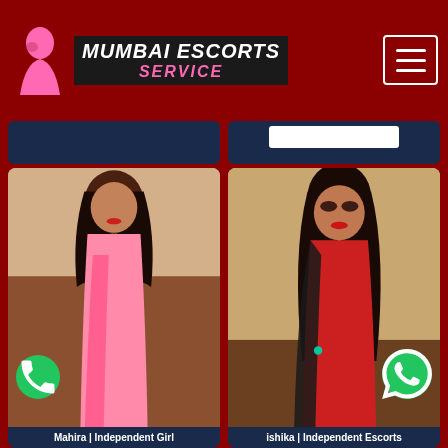MUMBAI ESCORTS SERVICE
[Figure (photo): Profile photo of Mahira, a young woman in a pink saree posing indoors]
Mahira | Independent Girl
[Figure (photo): Profile photo of Ishika, a young woman in a red top and black saree]
ishika | Independent Escorts